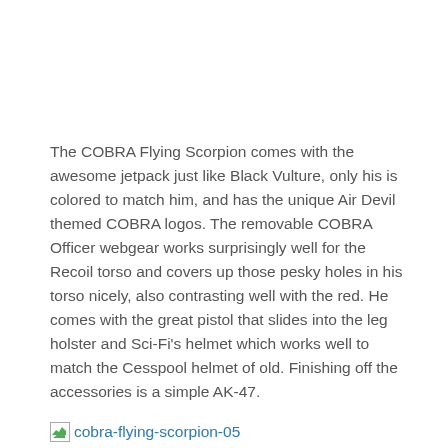The COBRA Flying Scorpion comes with the awesome jetpack just like Black Vulture, only his is colored to match him, and has the unique Air Devil themed COBRA logos. The removable COBRA Officer webgear works surprisingly well for the Recoil torso and covers up those pesky holes in his torso nicely, also contrasting well with the red. He comes with the great pistol that slides into the leg holster and Sci-Fi's helmet which works well to match the Cesspool helmet of old. Finishing off the accessories is a simple AK-47.
[Figure (other): Broken image placeholder link labeled cobra-flying-scorpion-05]
Flying Scorpion is terrific. The Cesspool head is magnificent and in the different skin tone looks like a completely different character. The